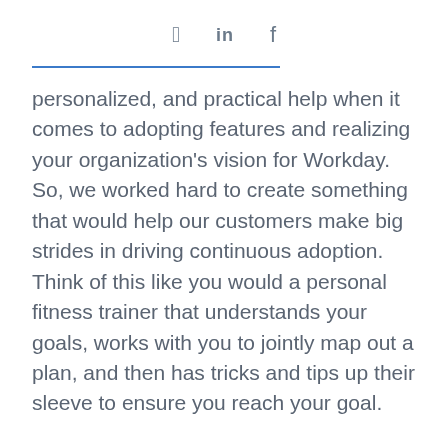Twitter  LinkedIn  Facebook
personalized, and practical help when it comes to adopting features and realizing your organization's vision for Workday. So, we worked hard to create something that would help our customers make big strides in driving continuous adoption. Think of this like you would a personal fitness trainer that understands your goals, works with you to jointly map out a plan, and then has tricks and tips up their sleeve to ensure you reach your goal.